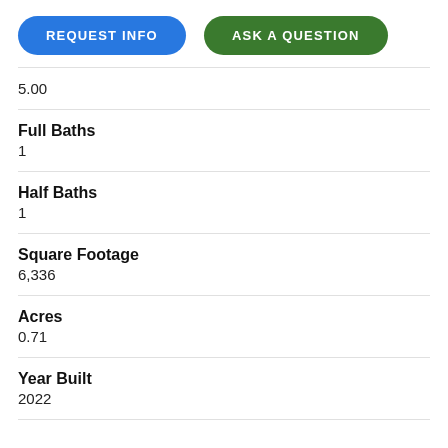[Figure (other): Two buttons: blue 'REQUEST INFO' and green 'ASK A QUESTION']
5.00
Full Baths
1
Half Baths
1
Square Footage
6,336
Acres
0.71
Year Built
2022